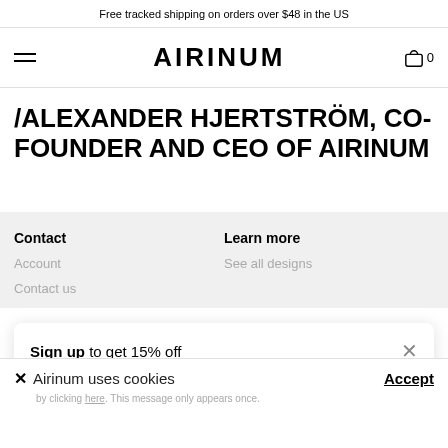Free tracked shipping on orders over $48 in the US
[Figure (screenshot): Airinum website navigation bar with hamburger menu icon on left, AIRINUM logo in center, and shopping bag icon with '0' on right]
/ALEXANDER HJERTSTRÖM, CO-FOUNDER AND CEO OF AIRINUM
Contact
Learn more
Account
See all designs
Contact us
Sign up to get 15% off
Airinum uses cookies
Accept
by clicking here. This message only appears once.